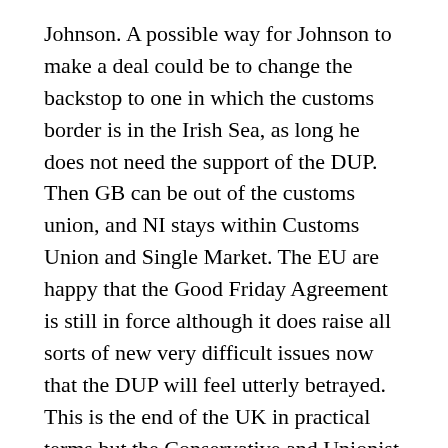Johnson. A possible way for Johnson to make a deal could be to change the backstop to one in which the customs border is in the Irish Sea, as long he does not need the support of the DUP. Then GB can be out of the customs union, and NI stays within Customs Union and Single Market. The EU are happy that the Good Friday Agreement is still in force although it does raise all sorts of new very difficult issues now that the DUP will feel utterly betrayed. This is the end of the UK in practical terms but the Conservative and Unionist Party do not seem to really mind that and Corbyn will be in favour too.
How it can take longer